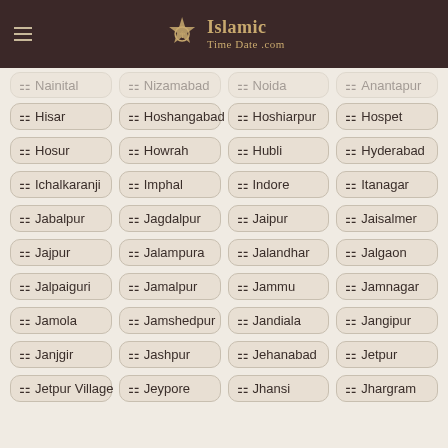IslamicTimeDate.com
Hisar
Hoshangabad
Hoshiarpur
Hospet
Hosur
Howrah
Hubli
Hyderabad
Ichalkaranji
Imphal
Indore
Itanagar
Jabalpur
Jagdalpur
Jaipur
Jaisalmer
Jajpur
Jalampura
Jalandhar
Jalgaon
Jalpaiguri
Jamalpur
Jammu
Jamnagar
Jamola
Jamshedpur
Jandiala
Jangipur
Janjgir
Jashpur
Jehanabad
Jetpur
Jetpur Village
Jeypore
Jhansi
Jhargram